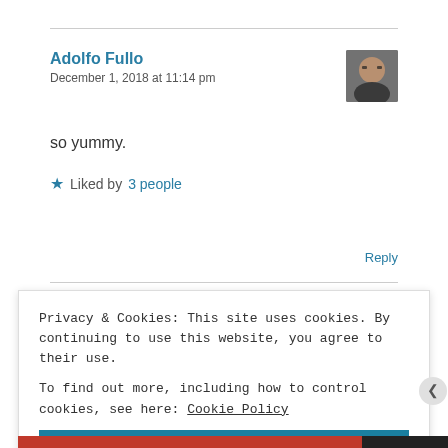Adolfo Fullo
December 1, 2018 at 11:14 pm
so yummy.
★ Liked by 3 people
Reply
Privacy & Cookies: This site uses cookies. By continuing to use this website, you agree to their use.
To find out more, including how to control cookies, see here: Cookie Policy
Close and accept